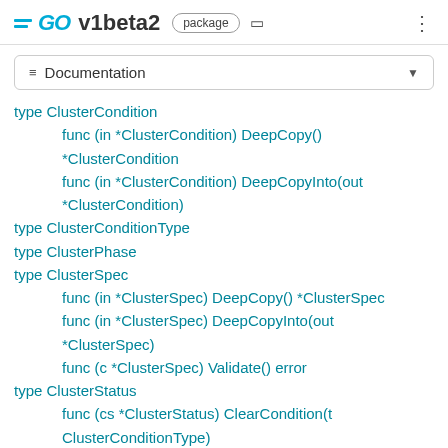GO v1beta2 package
≡ Documentation
type ClusterCondition
func (in *ClusterCondition) DeepCopy() *ClusterCondition
func (in *ClusterCondition) DeepCopyInto(out *ClusterCondition)
type ClusterConditionType
type ClusterPhase
type ClusterSpec
func (in *ClusterSpec) DeepCopy() *ClusterSpec
func (in *ClusterSpec) DeepCopyInto(out *ClusterSpec)
func (c *ClusterSpec) Validate() error
type ClusterStatus
func (cs *ClusterStatus) ClearCondition(t ClusterConditionType)